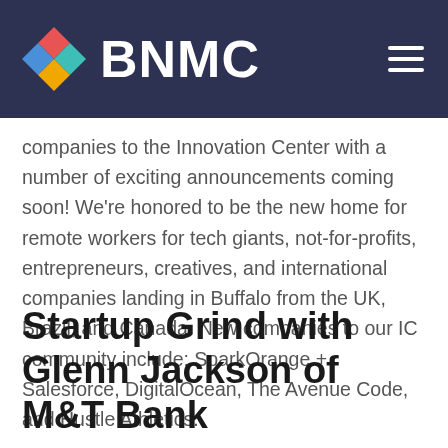BNMC
companies to the Innovation Center with a number of exciting announcements coming soon! We're honored to be the new home for remote workers for tech giants, not-for-profits, entrepreneurs, creatives, and international companies landing in Buffalo from the UK, Brazil, and Canada. New companies to our IC community include: SparkOrange + Salesforce, DigitalOcean, The Avenue Code, and Hustle Athletics.
Startup Grind with Glenn Jackson of M&T Bank